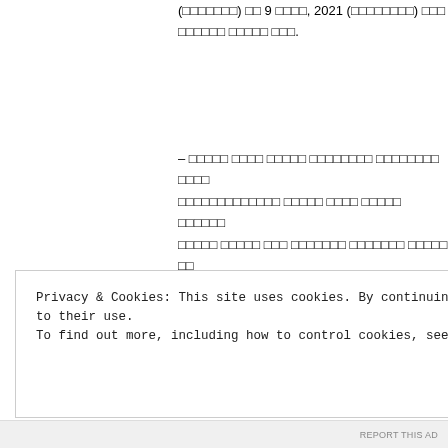(redacted) on 9 June, 2021 (redacted) and redacted words here.
– redacted Hindi/Devanagari text block spanning multiple lines about redacted subject matter including redacted details and redacted information here
Delimitation Commission to visit Jammu
Privacy & Cookies: This site uses cookies. By continuing to use this website, you agree to their use.
To find out more, including how to control cookies, see here: Cookie Policy
REPORT THIS AD